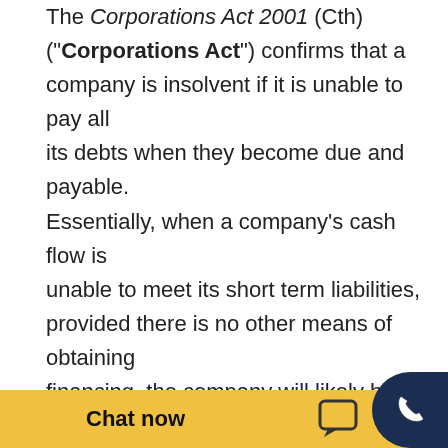The Corporations Act 2001 (Cth) ("Corporations Act") confirms that a company is insolvent if it is unable to pay all its debts when they become due and payable. Essentially, when a company's cash flow is unable to meet its short term liabilities, provided there is no other means of obtaining financing, the company will likely be deemed insolvent.

When forming such a view, it is important to also take note of the industry and circumstances impacting the commerciality of the compa...